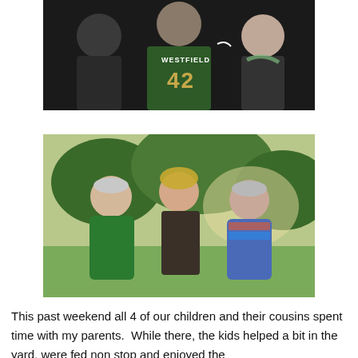[Figure (photo): Three people posing together; the person in the middle wears a green Westfield #42 football jersey, flanked by two others against a dark background.]
[Figure (photo): Three people smiling outdoors in a green grassy setting with trees. An older man in a green polo shirt on the left, a young woman in the center, and an older woman on the right with short gray hair wearing a colorful top.]
This past weekend all 4 of our children and their cousins spent time with my parents.  While there, the kids helped a bit in the yard, were fed non stop and enjoyed the